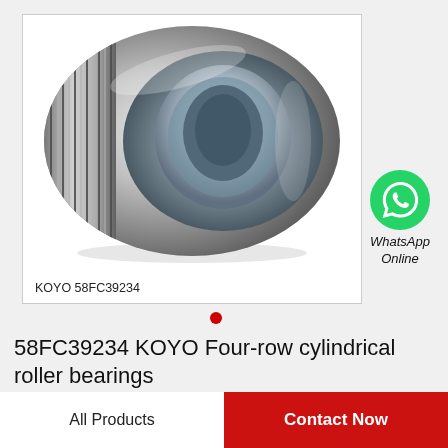[Figure (photo): KOYO 58FC39234 four-row cylindrical roller bearing – metallic silver ring bearing with ribbed outer race, shown in perspective on white background]
KOYO 58FC39234
[Figure (logo): WhatsApp green circle icon with white phone handset]
WhatsApp Online
58FC39234 KOYO Four-row cylindrical roller bearings
All Products
Contact Now